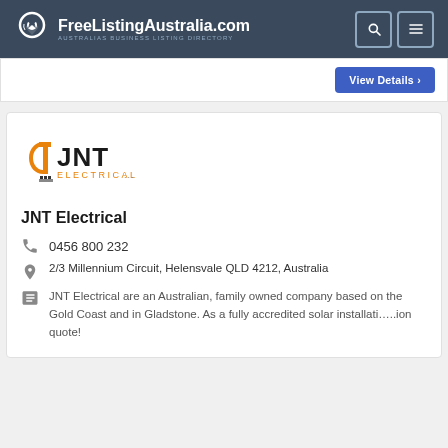FreeListingAustralia.com — AUSTRALIAS BUSINESS LISTING DIRECTORY
View Details ›
[Figure (logo): JNT Electrical logo with orange and black text]
JNT Electrical
0456 800 232
2/3 Millennium Circuit, Helensvale QLD 4212, Australia
JNT Electrical are an Australian, family owned company based on the Gold Coast and in Gladstone. As a fully accredited solar installati.....ion quote!